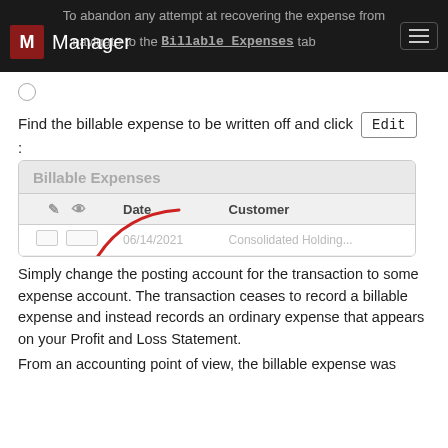To abandon any attempt at recovering the expense from... navigate to the Billable Expenses tab...
Find the billable expense to be written off and click Edit :
[Figure (screenshot): Screenshot of Manager software showing Billable Expenses list view with columns for edit/view icons, Date, and Customer. A red curved arrow points down to the Edit icon in the first data row.]
Simply change the posting account for the transaction to some expense account. The transaction ceases to record a billable expense and instead records an ordinary expense that appears on your Profit and Loss Statement.
From an accounting point of view, the billable expense was